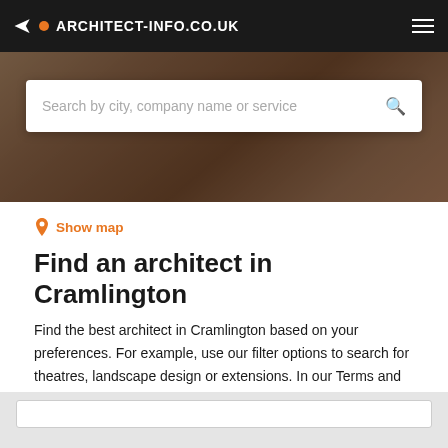ARCHITECT-INFO.CO.UK
[Figure (screenshot): Hero background image showing architect hands working on blueprints with dark overlay]
Search by city, company name or service
Show map
Find an architect in Cramlington
Find the best architect in Cramlington based on your preferences. For example, use our filter options to search for theatres, landscape design or extensions. In our Terms and Conditions you will find more information about how our search results are generated.
Filters